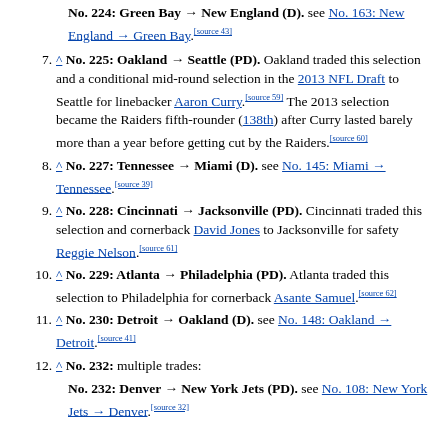No. 224: Green Bay → New England (D). see No. 163: New England → Green Bay.[source 43]
7. ^ No. 225: Oakland → Seattle (PD). Oakland traded this selection and a conditional mid-round selection in the 2013 NFL Draft to Seattle for linebacker Aaron Curry.[source 59] The 2013 selection became the Raiders fifth-rounder (138th) after Curry lasted barely more than a year before getting cut by the Raiders.[source 60]
8. ^ No. 227: Tennessee → Miami (D). see No. 145: Miami → Tennessee.[source 39]
9. ^ No. 228: Cincinnati → Jacksonville (PD). Cincinnati traded this selection and cornerback David Jones to Jacksonville for safety Reggie Nelson.[source 61]
10. ^ No. 229: Atlanta → Philadelphia (PD). Atlanta traded this selection to Philadelphia for cornerback Asante Samuel.[source 62]
11. ^ No. 230: Detroit → Oakland (D). see No. 148: Oakland → Detroit.[source 41]
12. ^ No. 232: multiple trades:
No. 232: Denver → New York Jets (PD). see No. 108: New York Jets → Denver.[source 32]